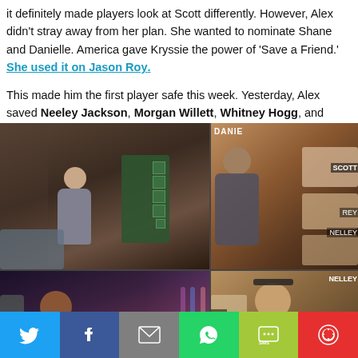It definitely made players look at Scott differently. However, Alex didn't stray away from her plan. She wanted to nominate Shane and Danielle. America gave Kryssie the power of 'Save a Friend.' She used it on Jason Roy.
This made him the first player safe this week. Yesterday, Alex saved Neeley Jackson, Morgan Willett, Whitney Hogg, and Kryssie. Tonight, she saved Shelby Stockton, Justin Duncan, Monte, and Scott.
[Figure (photo): Four-panel photo grid from Big Brother: top-left shows a contestant in a room with green photo board, top-right shows a man standing near nomination photos labeled DANIE, SCOTT, REY, NEELEY, KRYSSIE; bottom-left shows a woman in red plaid at a table, bottom-right shows a shirtless man with sunglasses on his head near photo boards labeled KRS, SON, SHEL]
Social share bar with Twitter, Facebook, Email, WhatsApp, SMS, More buttons